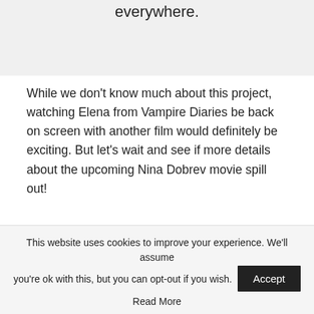everywhere.
While we don't know much about this project, watching Elena from Vampire Diaries be back on screen with another film would definitely be exciting. But let's wait and see if more details about the upcoming Nina Dobrev movie spill out!
Related: Nina Dobrev Wants CBS To
This website uses cookies to improve your experience. We'll assume you're ok with this, but you can opt-out if you wish. Accept Read More